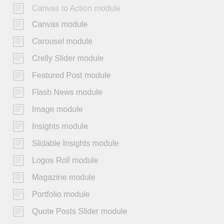Canvas module
Carousel module
Crelly Slider module
Featured Post module
Flash News module
Image module
Insights module
Slidable Insights module
Logos Roll module
Magazine module
Portfolio module
Quote Posts Slider module